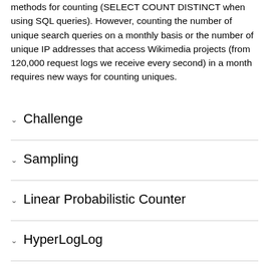methods for counting (SELECT COUNT DISTINCT when using SQL queries). However, counting the number of unique search queries on a monthly basis or the number of unique IP addresses that access Wikimedia projects (from 120,000 request logs we receive every second) in a month requires new ways for counting uniques.
Challenge
Sampling
Linear Probabilistic Counter
HyperLogLog